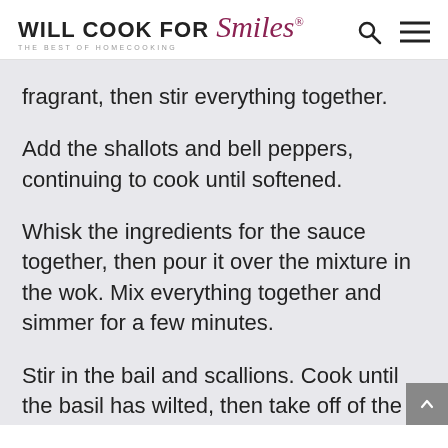WILL COOK FOR Smiles® THE BEST OF HOMECOOKING
fragrant, then stir everything together.
Add the shallots and bell peppers, continuing to cook until softened.
Whisk the ingredients for the sauce together, then pour it over the mixture in the wok. Mix everything together and simmer for a few minutes.
Stir in the bail and scallions. Cook until the basil has wilted, then take off of the heat